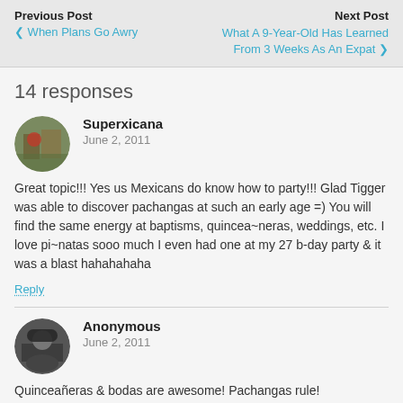Previous Post · When Plans Go Awry | Next Post · What A 9-Year-Old Has Learned From 3 Weeks As An Expat
14 responses
Superxicana
June 2, 2011
Great topic!!! Yes us Mexicans do know how to party!!! Glad Tigger was able to discover pachangas at such an early age =) You will find the same energy at baptisms, quincea~neras, weddings, etc. I love pi~natas sooo much I even had one at my 27 b-day party & it was a blast hahahahaha
Reply
Anonymous
June 2, 2011
Quinceañeras & bodas are awesome! Pachangas rule!